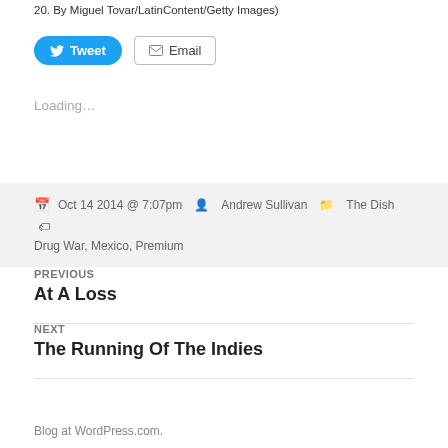20. By Miguel Tovar/LatinContent/Getty Images)
Tweet  Email
Loading...
Oct 14 2014 @ 7:07pm  Andrew Sullivan  The Dish  Drug War, Mexico, Premium
PREVIOUS
At A Loss
NEXT
The Running Of The Indies
Blog at WordPress.com.